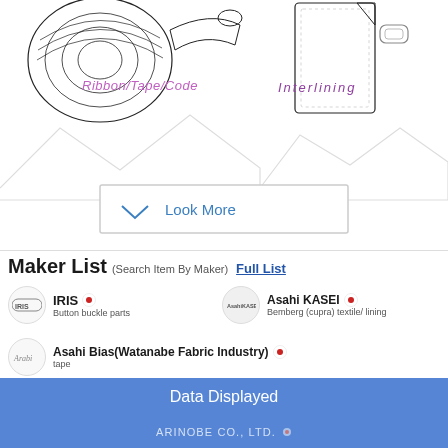[Figure (illustration): Product category illustrations: ribbon/tape/code spool on left, interlining fabric on right, with mountain silhouette background and Look More button]
Maker List (Search Item By Maker) Full List
IRIS — Button buckle parts
Asahi KASEI — Bemberg (cupra) textile/ lining
Asahi Bias(Watanabe Fabric Industry) — tape
Data Displayed
ARINOBE CO., LTD.